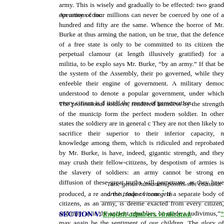army. This is wisely and gradually to be effected: two grand operations conc...
An army of four millions can never be coerced by one of a hundred and fifty are the same. Whence the horror of Mr. Burke at thus arming the nation, un be true, that the defence of a free state is only to be committed to its citizen the perpetual clamour (at length illusively gratified) for a militia, to be explo says Mr. Burke, "by an army." If that be the system of the Assembly, their po governed, while they enfeeble their engine of government. A military democ understood to denote a popular government, under which every citizen is d itself the means of preservation.
The professional soldiers, rendered harmless by the strength of the municip form the perfect modern soldier. In other states the soldiery are in general c They are not then likely to sacrifice their superior to their inferior capacity, n knowledge among them, which is ridiculed and reprobated by Mr. Burke, is have, indeed, gigantic strength, and they may crush their fellow-citizens, by despotism of armies is the slavery of soldiers: an army cannot be strong en diffusion of these great truths will perpetuate, as they have produced, a rev and the trade of none.* If a separate body of citizens, as an army, is deeme exacted from every citizen, and may, as in the ancient republics, be made a audivimus,"* may again be the sentiment of our children. The glory of herois It is time that it should seek a new glory, and a new splendour, under the sh Happy would it be for us all, if the example of that "manifesto of humanity" w surrounding nations.
Tunc genus humanum positis sibi consulat armis, Inque vicem gens...
SECTION V. English admirers vindicated.